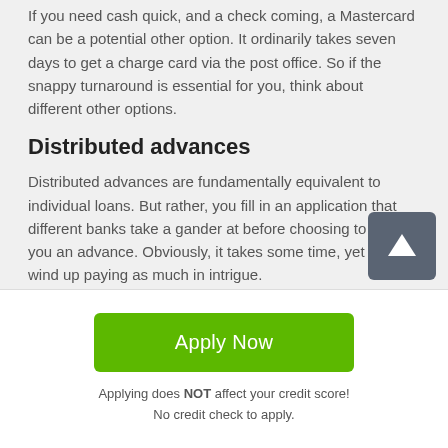If you need cash quick, and a check coming, a Mastercard can be a potential other option. It ordinarily takes seven days to get a charge card via the post office. So if the snappy turnaround is essential for you, think about different other options.
Distributed advances
Distributed advances are fundamentally equivalent to individual loans. But rather, you fill in an application that different banks take a gander at before choosing to give you an advance. Obviously, it takes some time, yet you not wind up paying as much in intrigue.
[Figure (other): Scroll-to-top button with upward arrow icon]
Apply Now
Applying does NOT affect your credit score!
No credit check to apply.